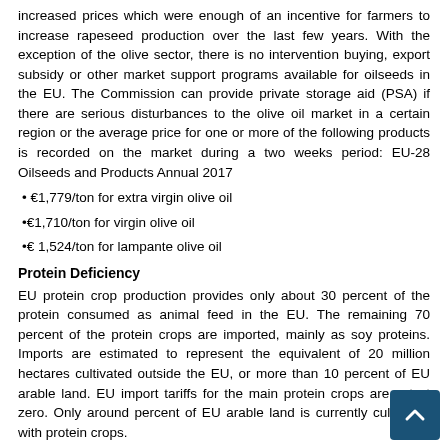increased prices which were enough of an incentive for farmers to increase rapeseed production over the last few years. With the exception of the olive sector, there is no intervention buying, export subsidy or other market support programs available for oilseeds in the EU. The Commission can provide private storage aid (PSA) if there are serious disturbances to the olive oil market in a certain region or the average price for one or more of the following products is recorded on the market during a two weeks period: EU-28 Oilseeds and Products Annual 2017
• €1,779/ton for extra virgin olive oil
•€1,710/ton for virgin olive oil
•€ 1,524/ton for lampante olive oil
Protein Deficiency
EU protein crop production provides only about 30 percent of the protein consumed as animal feed in the EU. The remaining 70 percent of the protein crops are imported, mainly as soy proteins. Imports are estimated to represent the equivalent of 20 million hectares cultivated outside the EU, or more than 10 percent of EU arable land. EU import tariffs for the main protein crops are set at zero. Only around percent of EU arable land is currently cultivated with protein crops.